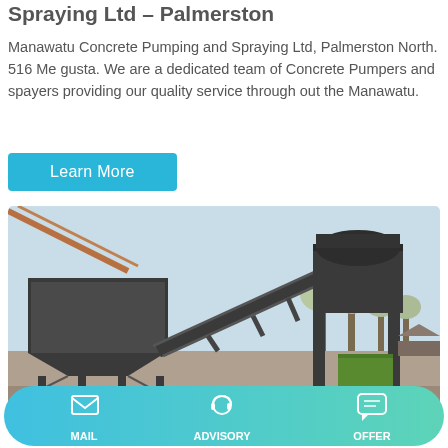Spraying Ltd – Palmerston
Manawatu Concrete Pumping and Spraying Ltd, Palmerston North. 516 Me gusta. We are a dedicated team of Concrete Pumpers and spayers providing our quality service through out the Manawatu.
Learn More
[Figure (photo): Industrial concrete batching plant with a large hopper and conveyor belt system, photographed outdoors against a blue sky with trees in background.]
MAIL | ADVISORY | OFFER